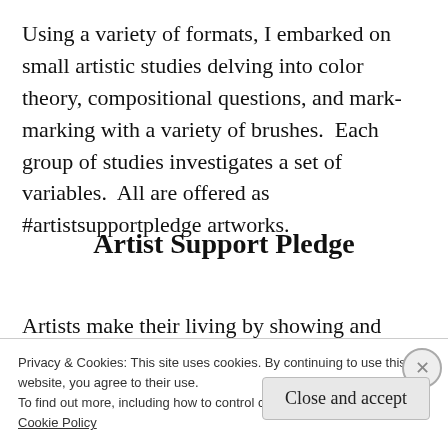Using a variety of formats, I embarked on small artistic studies delving into color theory, compositional questions, and mark-marking with a variety of brushes.  Each group of studies investigates a set of variables.  All are offered as #artistsupportpledge artworks.
Artist Support Pledge
Artists make their living by showing and selling
Privacy & Cookies: This site uses cookies. By continuing to use this website, you agree to their use.
To find out more, including how to control cookies, see here:
Cookie Policy
Close and accept